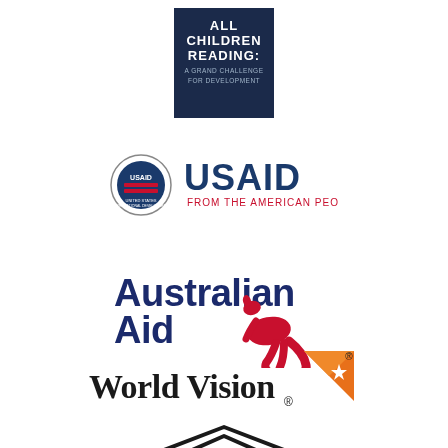[Figure (logo): All Children Reading: A Grand Challenge for Development logo - dark blue square with white text]
[Figure (logo): USAID from the American People logo - circular seal on left, large blue USAID text with red subtitle]
[Figure (logo): Australian Aid logo - dark blue text with red kangaroo silhouette]
[Figure (logo): World Vision logo - black text with orange triangle/star graphic element]
[Figure (logo): Partial logo at bottom of page - appears to be a roof/house shape outline]